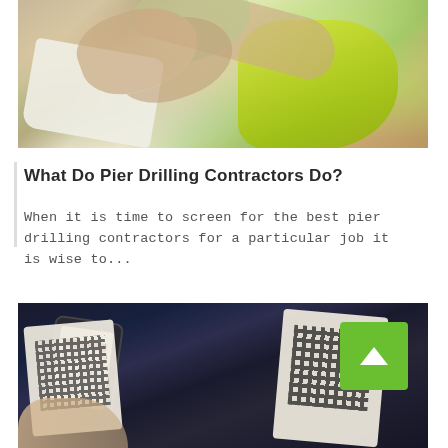[Figure (photo): Construction workers shaking hands on a job site, one wearing a yellow hi-vis vest, holding papers/blueprints]
What Do Pier Drilling Contractors Do?
When it is time to screen for the best pier drilling contractors for a particular job it is wise to...
[Figure (photo): Close-up of a hand holding a smartphone scanning QR codes on white cards against a dark background, with a green back-to-top button overlay]